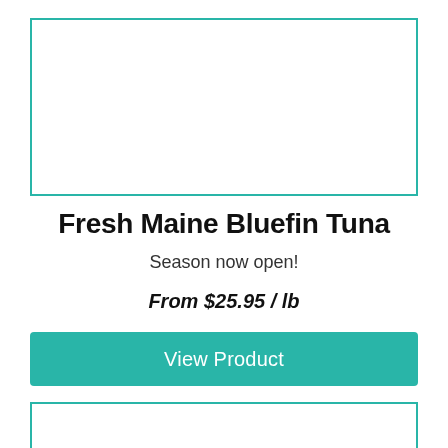[Figure (other): Product image placeholder box with teal border, top of page]
Fresh Maine Bluefin Tuna
Season now open!
From $25.95 / lb
View Product
[Figure (other): Product image placeholder box with teal border, bottom of page]